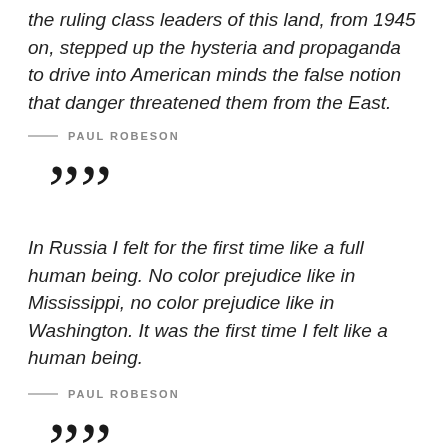the ruling class leaders of this land, from 1945 on, stepped up the hysteria and propaganda to drive into American minds the false notion that danger threatened them from the East.
— PAUL ROBESON
””
In Russia I felt for the first time like a full human being. No color prejudice like in Mississippi, no color prejudice like in Washington. It was the first time I felt like a human being.
— PAUL ROBESON
””